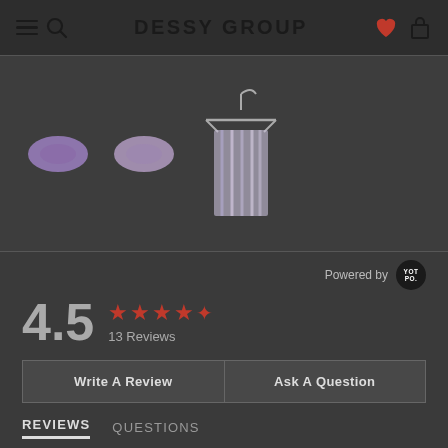DESSY GROUP
[Figure (photo): Product thumbnails: two small swatch/color samples and one garment on a hanger (striped/multicolor wrap)]
Powered by Yotpo
4.5 ★★★★½ 13 Reviews
Write A Review
Ask A Question
REVIEWS   QUESTIONS
Filter Reviews